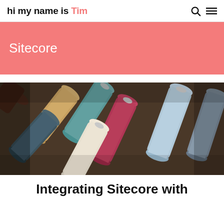hi my name is Tim
Sitecore
[Figure (photo): A pile of colorful thread spools/bobbins with metallic tips, in various colors including teal, pink/red, beige, blue, white, and brown.]
Integrating Sitecore with